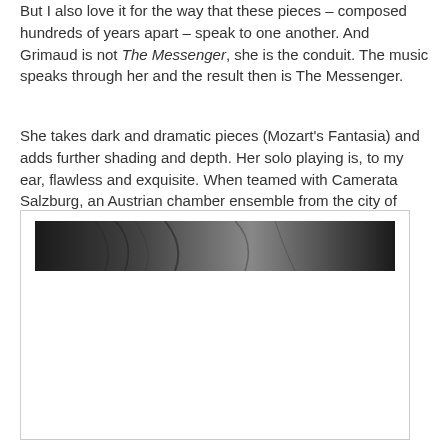But I also love it for the way that these pieces – composed hundreds of years apart – speak to one another. And Grimaud is not The Messenger, she is the conduit. The music speaks through her and the result then is The Messenger.
She takes dark and dramatic pieces (Mozart's Fantasia) and adds further shading and depth. Her solo playing is, to my ear, flawless and exquisite. When teamed with Camerata Salzburg, an Austrian chamber ensemble from the city of Mozart's birth, there is some re
[Figure (photo): A close-up black and white photo showing dark hair against a dark background, partially visible at the top of an image box with a white area below.]